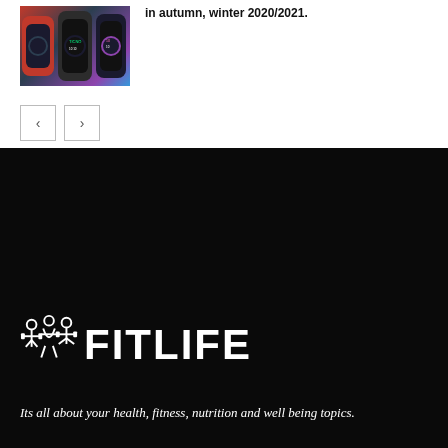[Figure (photo): Smartwatches product photo showing multiple watch faces]
in autumn, winter 2020/2021.
[Figure (other): Navigation previous and next arrow buttons]
[Figure (logo): FitLife logo with fitness silhouette icon and FITLIFE text]
Its all about your health, fitness, nutrition and well being topics.
+971-4-518-6666
FITNESS@FITLIFE.TIPS